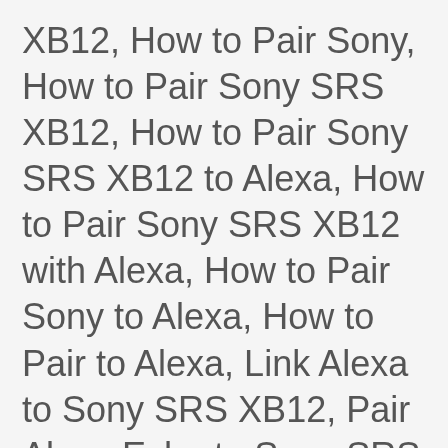XB12, How to Pair Sony, How to Pair Sony SRS XB12, How to Pair Sony SRS XB12 to Alexa, How to Pair Sony SRS XB12 with Alexa, How to Pair Sony to Alexa, How to Pair to Alexa, Link Alexa to Sony SRS XB12, Pair Alexa Echo to Sony SRS XB12, Pair Alexa Sony SRS XB12, Pair Alexa to External Sony SRS XB12, Pair Alexa to Sony SRS XB12, Pair Alexa with Sony SRS XB12, Pair Sony SRS